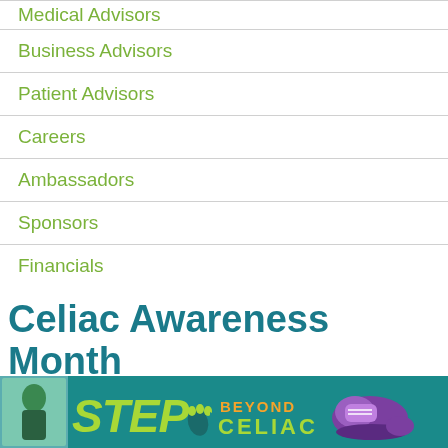Medical Advisors
Business Advisors
Patient Advisors
Careers
Ambassadors
Sponsors
Financials
Celiac Awareness Month
[Figure (photo): Steps Beyond Celiac banner with teal background, green STEPS text, orange BEYOND text, green CELIAC text, sneaker graphic, and a photo of a person outdoors]